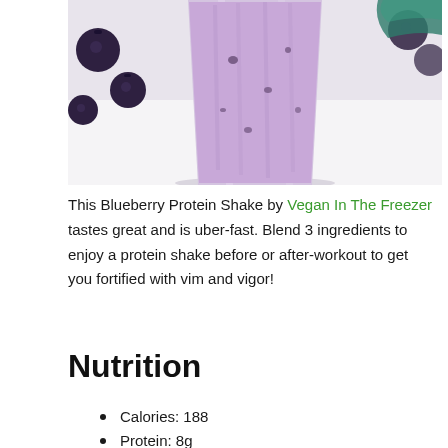[Figure (photo): A glass of blueberry protein shake (purple/lavender colored smoothie) with scattered blueberries on a white surface, photographed from slightly above.]
This Blueberry Protein Shake by Vegan In The Freezer tastes great and is uber-fast. Blend 3 ingredients to enjoy a protein shake before or after-workout to get you fortified with vim and vigor!
Nutrition
Calories: 188
Protein: 8g